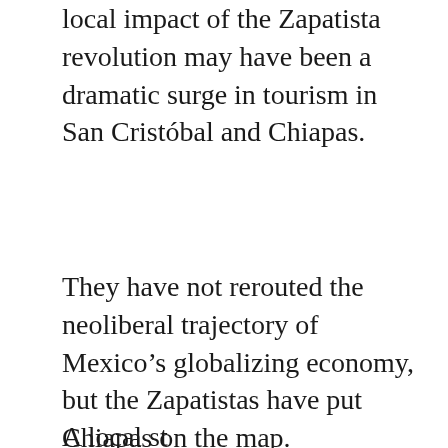local impact of the Zapatista revolution may have been a dramatic surge in tourism in San Cristóbal and Chiapas.
They have not rerouted the neoliberal trajectory of Mexico's globalizing economy, but the Zapatistas have put Chiapas on the map.
A local stage...